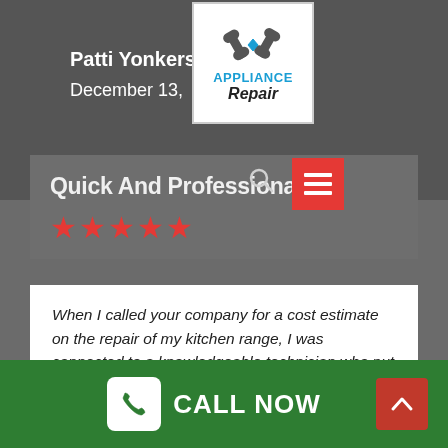[Figure (logo): Appliance Repair logo with wrench icons, company name in blue and black italic]
Patti Yonkers
December 13,
Quick And Professional
[Figure (other): Five red star rating]
When I called your company for a cost estimate on the repair of my kitchen range, I was connected to a knowledgeable technician who put together an appointment that very same day for me! They showed up to my home quickly and had the ability to fix my range in a couple of hours. Thank you for everything!
CALL NOW